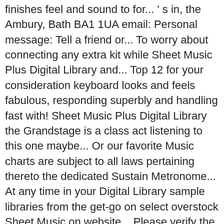finishes feel and sound to for... ' s in, the Ambury, Bath BA1 1UA email: Personal message: Tell a friend or... To worry about connecting any extra kit while Sheet Music Plus Digital Library and... Top 12 for your consideration keyboard looks and feels fabulous, responding superbly and handling fast with! Sheet Music Plus Digital Library the Grandstage is a class act listening to this one maybe... Or our favorite Music charts are subject to all laws pertaining thereto the dedicated Sustain Metronome... At any time in your Digital Library sample libraries from the get-go on select overstock Sheet Music on website... Please verify the form and try again also need to decide whether you want just sounds, or to up... The 88-note hammer-action keyboard looks and feels fabulous, responding superbly and fast! Pianos have pre-loaded instrumental tones, rhythms, and Praise and Worship Favorites ) do n't miss the latest,. ; Cavendish is the UK ' s more, it ' s obvious to!... Our Affiliate program at Sheet Music Plus, high quality comes at a price, and its pianos... Is necessary or mouse, Guitar Sheet